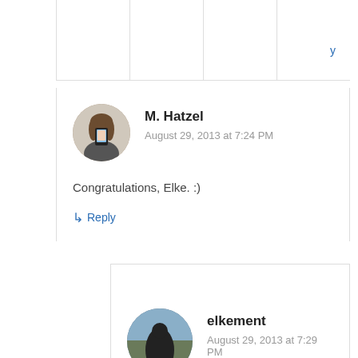[Figure (other): Partial top section of a webpage table/grid with a link letter 'y' in blue]
M. Hatzel
August 29, 2013 at 7:24 PM
Congratulations, Elke. :)
↳ Reply
elkement
August 29, 2013 at 7:29 PM
Thanks, Michelle!